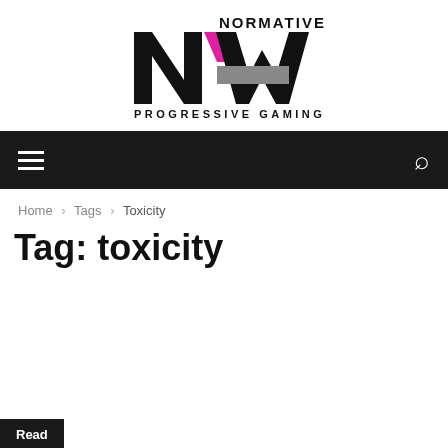[Figure (logo): Normative New Progressive Gaming logo — large black block letters N and W with a magenta/pink diagonal square in the center and a gray horizontal bar, with the text NORMATIVE above and PROGRESSIVE GAMING below in spaced capital letters.]
Home › Tags › Toxicity
Tag: toxicity
Read